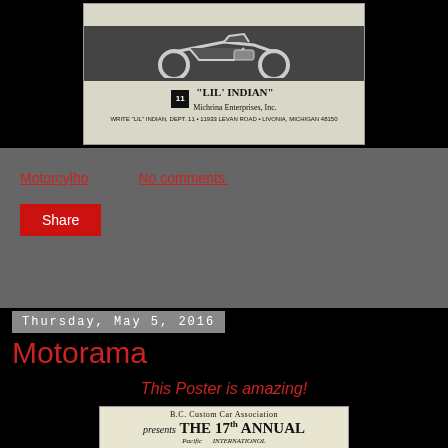[Figure (photo): Black and white vintage advertisement for 'Lil Indian' motorcycle by Michrina Enterprises, Inc. Shows a motorcycle image at top, logo box with number 11, brand name in quotes, company name, and address: Write 'Lil' Indian, Dept. 11, 11933 Levan Road, Livonia, Michigan 48150]
Motorcylho    No comments:
Share
Thursday, May 5, 2016
Motorama
This Poster is amazing!
[Figure (photo): Vintage poster for B.C. Custom Car Association presenting 'The 17th Annual Pacific International' car show. Black and white image showing the text in bold serif/script typography.]